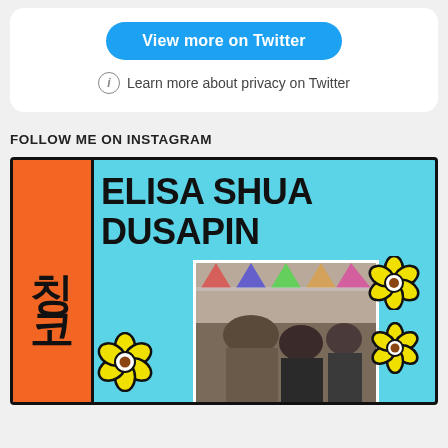[Figure (screenshot): Twitter embed card with blue 'View more on Twitter' button and privacy note]
FOLLOW ME ON INSTAGRAM
[Figure (illustration): Instagram promotional card for Elisa Shua Dusapin featuring Korean characters on orange banner, cyan background, photo of people on a train, and yellow flower decorations]